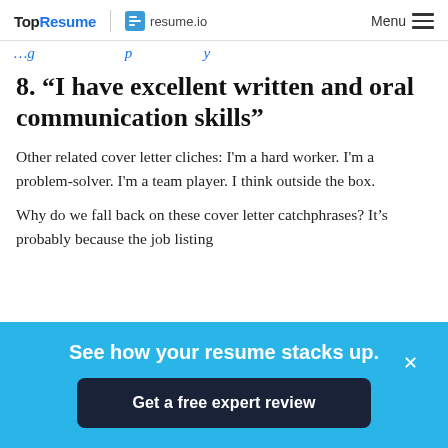TopResume | resume.io   Menu
…cover letter clichés…
8. “I have excellent written and oral communication skills”
Other related cover letter cliches: I'm a hard worker. I'm a problem-solver. I'm a team player. I think outside the box.
Why do we fall back on these cover letter catchphrases? It's probably because the job listing…
See how your resume stacks up.
Get a free expert review